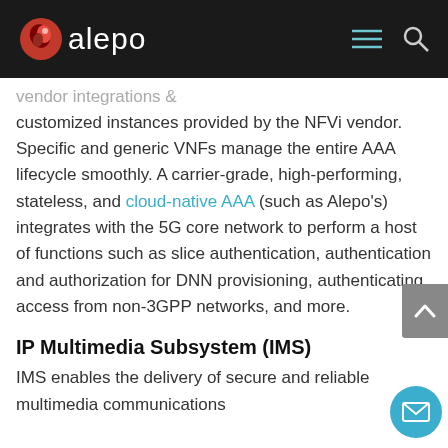alepo
...vendor integrations & customized instances provided by the NFVi vendor. Specific and generic VNFs manage the entire AAA lifecycle smoothly. A carrier-grade, high-performing, stateless, and cloud-native AAA (such as Alepo's) integrates with the 5G core network to perform a host of functions such as slice authentication, authentication and authorization for DNN provisioning, authenticating access from non-3GPP networks, and more.
IP Multimedia Subsystem (IMS)
IMS enables the delivery of secure and reliable multimedia communications